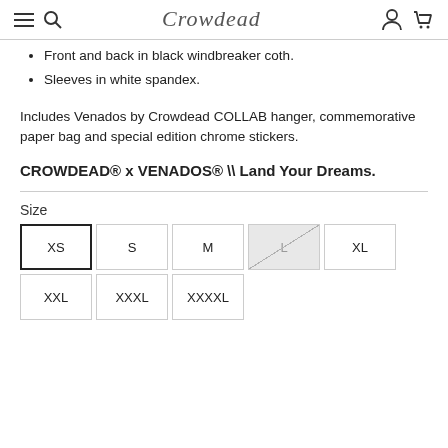Crowdead (logo/wordmark), navigation icons
Front and back in black windbreaker coth.
Sleeves in white spandex.
Includes Venados by Crowdead COLLAB hanger, commemorative paper bag and special edition chrome stickers.
CROWDEAD® x VENADOS® \\ Land Your Dreams.
Size
[Figure (other): Size selector with buttons: XS (selected), S, M, L (unavailable/crossed-out), XL, XXL, XXXL, XXXXL]